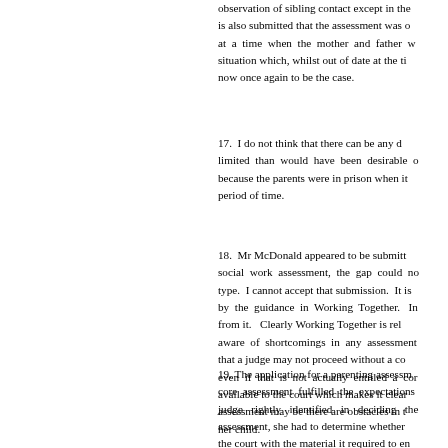observation of sibling contact except in the ... is also submitted that the assessment was o... at a time when the mother and father w... situation which, whilst out of date at the ti... now once again to be the case.
17. I do not think that there can be any d... limited than would have been desirable o... because the parents were in prison when it... period of time.
18. Mr McDonald appeared to be submitt... social work assessment, the gap could no... type. I cannot accept that submission. It is... by the guidance in Working Together. In... from it. Clearly Working Together is rel... aware of shortcomings in any assessment... that a judge may not proceed without a co... even if that is not actually entitled a cor... available to the court which makes it clear... assessment may be there are obstacles in t... her child.
19. The application for a parenting assessm... core assessment fulfilled the expectations... judge rightly identified in deciding the... assessment, she had to determine whether... the court with the material it required to en... of the children. The principles relating to...